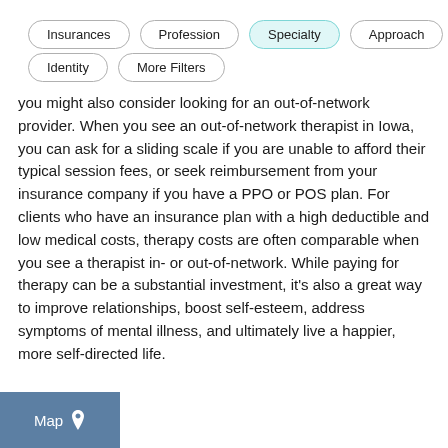Insurances | Profession | Specialty | Approach | Identity | More Filters
you might also consider looking for an out-of-network provider. When you see an out-of-network therapist in Iowa, you can ask for a sliding scale if you are unable to afford their typical session fees, or seek reimbursement from your insurance company if you have a PPO or POS plan. For clients who have an insurance plan with a high deductible and low medical costs, therapy costs are often comparable when you see a therapist in- or out-of-network. While paying for therapy can be a substantial investment, it’s also a great way to improve relationships, boost self-esteem, address symptoms of mental illness, and ultimately live a happier, more self-directed life.
[Figure (other): Map button with location pin icon]